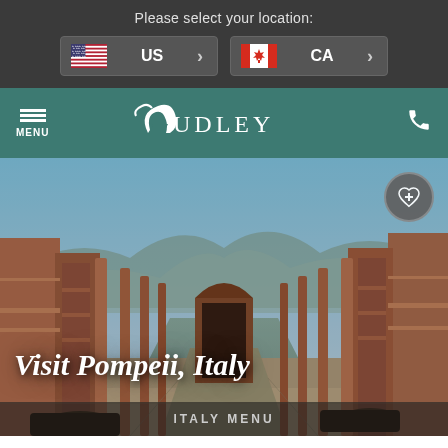Please select your location:
US
CA
AUDLEY
MENU
[Figure (screenshot): Pompeii ruins photo showing ancient Roman street with stone columns, archways, and mountains in background under blue sky]
Visit Pompeii, Italy
ITALY MENU